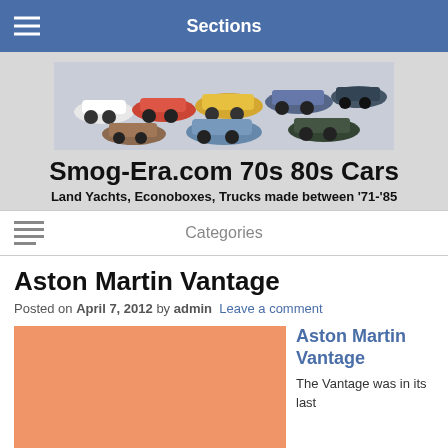Sections
[Figure (photo): Collage of classic 1970s and 1980s automobiles including various American cars and muscle cars]
Smog-Era.com 70s 80s Cars
Land Yachts, Econoboxes, Trucks made between '71-'85
Categories
Aston Martin Vantage
Posted on April 7, 2012 by admin  Leave a comment
[Figure (photo): Orange/salmon colored placeholder image for Aston Martin Vantage article]
Aston Martin Vantage
The Vantage was in its last